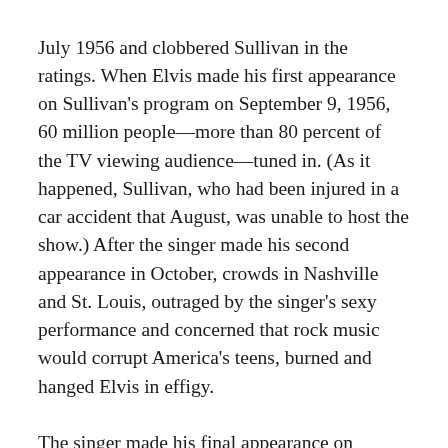July 1956 and clobbered Sullivan in the ratings. When Elvis made his first appearance on Sullivan's program on September 9, 1956, 60 million people—more than 80 percent of the TV viewing audience—tuned in. (As it happened, Sullivan, who had been injured in a car accident that August, was unable to host the show.) After the singer made his second appearance in October, crowds in Nashville and St. Louis, outraged by the singer's sexy performance and concerned that rock music would corrupt America's teens, burned and hanged Elvis in effigy.
The singer made his final appearance on Sullivan's show in January 1957, and this time network censors demanded he be filmed from the waist up. Despite this requirement, at the end of the program, Sullivan gave the entertainer a special nod, telling